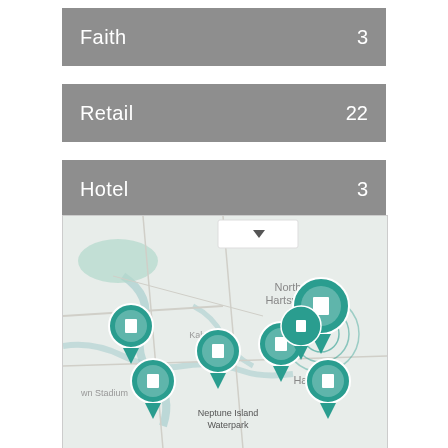Faith  3
Retail  22
Hotel  3
[Figure (map): Map showing location pins around Hartsville area including North Hartsville, Kalmia Gardens, Neptune Island Waterpark, and wn Stadium. Multiple teal map pins with white rectangle icons clustered near Hartsville center and scattered across surrounding area. Dropdown control visible at top center of map.]